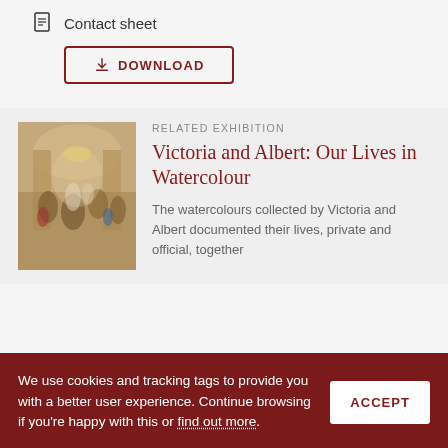Contact sheet
DOWNLOAD
RELATED EXHIBITION
Victoria and Albert: Our Lives in Watercolour
The watercolours collected by Victoria and Albert documented their lives, private and official, together
We use cookies and tracking tags to provide you with a better user experience. Continue browsing if you're happy with this or find out more.
ACCEPT